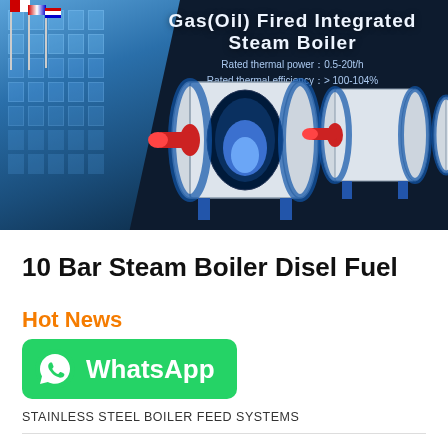[Figure (photo): Dark blue hero banner showing gas/oil fired integrated steam boilers with product specifications and a building facade on the left with flags]
10 Bar Steam Boiler Disel Fuel
Hot News
[Figure (logo): WhatsApp button with green background, WhatsApp phone icon and WhatsApp text in white]
STAINLESS STEEL BOILER FEED SYSTEMS